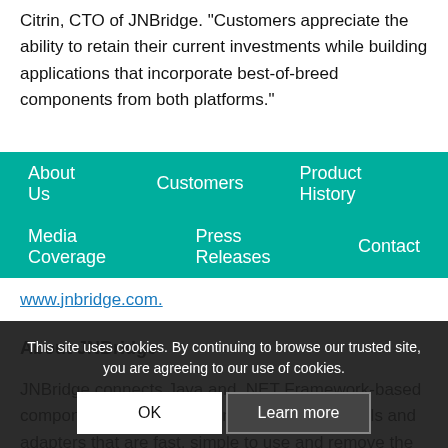Citrin, CTO of JNBridge. "Customers appreciate the ability to retain their current investments while building applications that incorporate best-of-breed components from both platforms."
About Us | Customers | Product History | Media Coverage | Press Releases | Contact
www.jnbridge.com.
About JNBridge
JNBridge connects Java and .NET Framework-based components and applications together with tools and adapters that are fast, simple to use and remove the complexities of cross-platform interoperability.
JNBridge is a privately held company based in Boulder, Colorado. Founded in 2001, JNBridge has over 400 unique customers in 42 countries that use JNBridge's award-winning products in a wide variety of applications in financial services, insurance, media
This site uses cookies. By continuing to browse our trusted site, you are agreeing to our use of cookies.